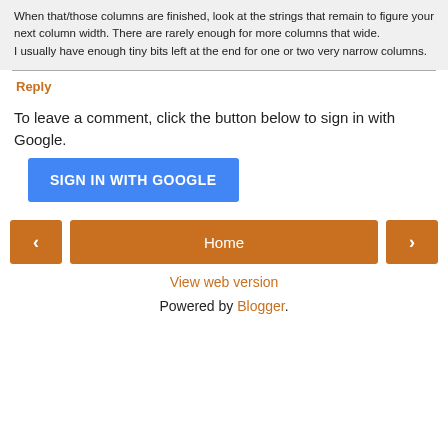When that/those columns are finished, look at the strings that remain to figure your next column width. There are rarely enough for more columns that wide.
I usually have enough tiny bits left at the end for one or two very narrow columns.
Reply
To leave a comment, click the button below to sign in with Google.
[Figure (other): SIGN IN WITH GOOGLE button (blue rectangle)]
[Figure (other): Navigation row with left arrow, Home button, right arrow]
View web version
Powered by Blogger.